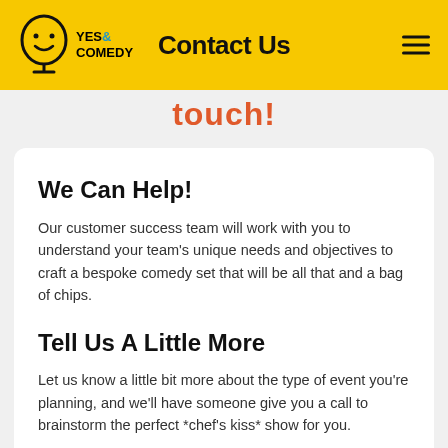Yes& Comedy — Contact Us
touch!
We Can Help!
Our customer success team will work with you to understand your team's unique needs and objectives to craft a bespoke comedy set that will be all that and a bag of chips.
Tell Us A Little More
Let us know a little bit more about the type of event you're planning, and we'll have someone give you a call to brainstorm the perfect *chef's kiss* show for you.